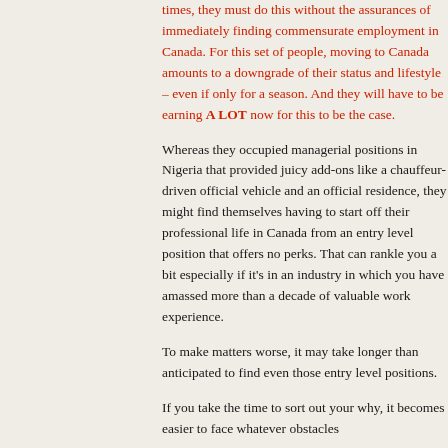times, they must do this without the assurances of immediately finding commensurate employment in Canada. For this set of people, moving to Canada amounts to a downgrade of their status and lifestyle – even if only for a season. And they will have to be earning A LOT now for this to be the case.
Whereas they occupied managerial positions in Nigeria that provided juicy add-ons like a chauffeur-driven official vehicle and an official residence, they might find themselves having to start off their professional life in Canada from an entry level position that offers no perks. That can rankle you a bit especially if it's in an industry in which you have amassed more than a decade of valuable work experience.
To make matters worse, it may take longer than anticipated to find even those entry level positions.
If you take the time to sort out your why, it becomes easier to face whatever obstacles